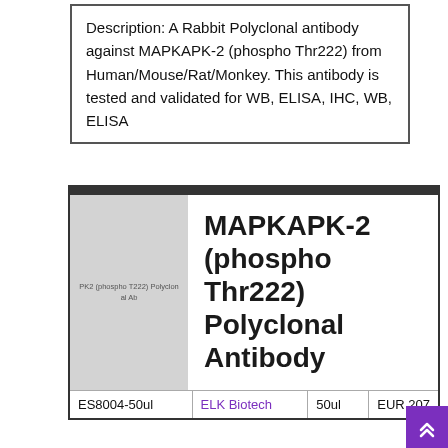Description: A Rabbit Polyclonal antibody against MAPKAPK-2 (phospho Thr222) from Human/Mouse/Rat/Monkey. This antibody is tested and validated for WB, ELISA, IHC, WB, ELISA
[Figure (other): Product card for MAPKAPK-2 (phospho Thr222) Polyclonal Antibody with a gray placeholder image on the left labeled 'PK2 (phospho T222) Polyclonal Ab', a large product title in bold, and a bottom row showing catalog number ES8004-50ul, brand ELK Biotech, volume 50ul, and price EUR 207]
MAPKAPK-2 (phospho Thr222) Polyclonal Antibody
|  | ELK Biotech | 50ul | EUR 207 |
| --- | --- | --- | --- |
| ES8004-50ul | ELK Biotech | 50ul | EUR 207 |